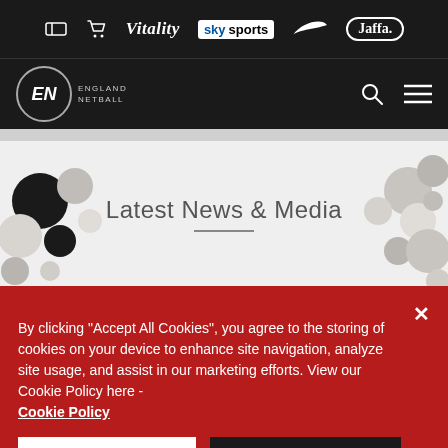[Figure (logo): Sponsor bar with ticket icon, cart icon, Vitality, Sky Sports, Nike swoosh, and Jaffa logos on dark background]
[Figure (logo): England Netball main navigation bar with circular EN logo, search icon, and hamburger menu]
Latest News & Media
By clicking "Accept All Cookies", you agree to the storing of cookies on your device to enhance site navigation, analyze site usage, and assist in our marketing efforts. View our Cookie Policy here - Cookie Policy
Cookies Settings
Accept All Cookies